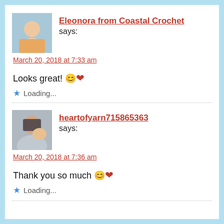Eleonora from Coastal Crochet says:
March 20, 2018 at 7:33 am
Looks great! 😊❤️
Loading...
heartofyarn715865363 says:
March 20, 2018 at 7:36 am
Thank you so much 😊❤️
Loading...